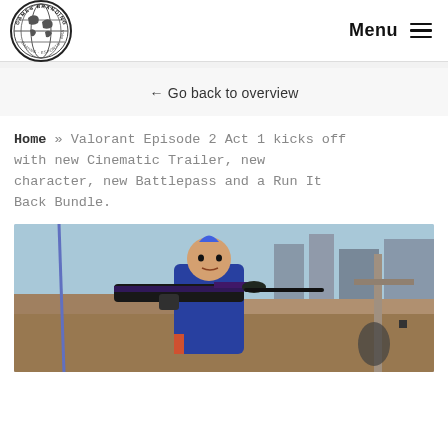[Figure (logo): Games Branding circular logo with globe/world map graphic and text 'GAMES BRANDING' around the border]
Menu ≡
← Go back to overview
Home » Valorant Episode 2 Act 1 kicks off with new Cinematic Trailer, new character, new Battlepass and a Run It Back Bundle.
[Figure (screenshot): Valorant game screenshot showing a character with a blue mohawk in a blue and orange jacket holding a large decorated sniper rifle, standing on a rooftop with an urban background]